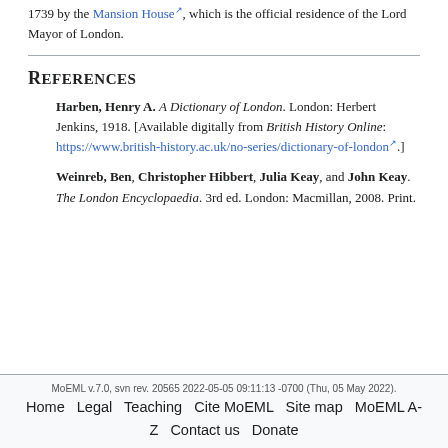1739 by the Mansion House, which is the official residence of the Lord Mayor of London.
References
Harben, Henry A. A Dictionary of London. London: Herbert Jenkins, 1918. [Available digitally from British History Online: https://www.british-history.ac.uk/no-series/dictionary-of-london.]
Weinreb, Ben, Christopher Hibbert, Julia Keay, and John Keay. The London Encyclopaedia. 3rd ed. London: Macmillan, 2008. Print.
MoEML v.7.0, svn rev. 20565 2022-05-05 09:11:13 -0700 (Thu, 05 May 2022). Home Legal Teaching Cite MoEML Site map MoEML A-Z Contact us Donate